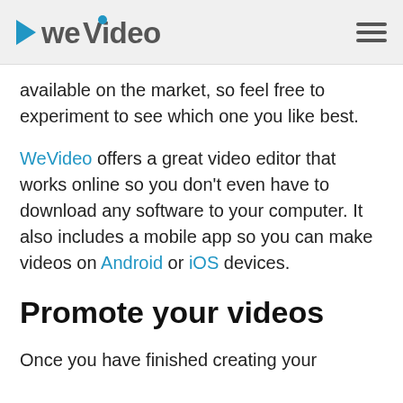WeVideo (logo with hamburger menu)
available on the market, so feel free to experiment to see which one you like best.
WeVideo offers a great video editor that works online so you don’t even have to download any software to your computer. It also includes a mobile app so you can make videos on Android or iOS devices.
Promote your videos
Once you have finished creating your